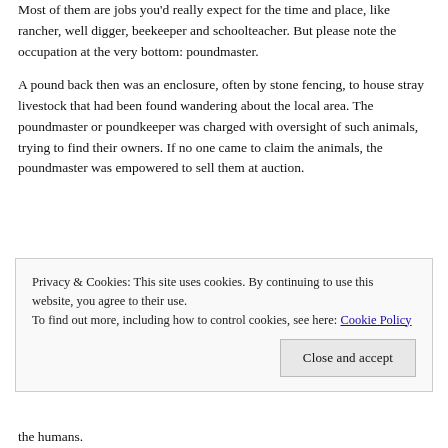Most of them are jobs you'd really expect for the time and place, like rancher, well digger, beekeeper and schoolteacher. But please note the occupation at the very bottom: poundmaster.
A pound back then was an enclosure, often by stone fencing, to house stray livestock that had been found wandering about the local area. The poundmaster or poundkeeper was charged with oversight of such animals, trying to find their owners. If no one came to claim the animals, the poundmaster was empowered to sell them at auction.
Privacy & Cookies: This site uses cookies. By continuing to use this website, you agree to their use.
To find out more, including how to control cookies, see here: Cookie Policy
Close and accept
the humans.